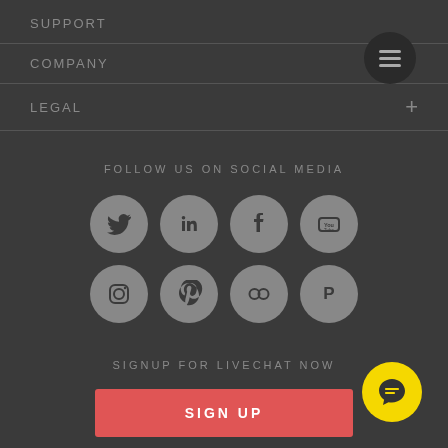SUPPORT
[Figure (other): Dark circular menu button with hamburger icon in top right]
COMPANY
LEGAL
FOLLOW US ON SOCIAL MEDIA
[Figure (other): Social media icons: Twitter, LinkedIn, Facebook, YouTube, Instagram, Pinterest, Slideshare/Flickr, Product Hunt]
SIGNUP FOR LIVECHAT NOW
SIGN UP
[Figure (other): Yellow circular live chat button with chat icon in bottom right]